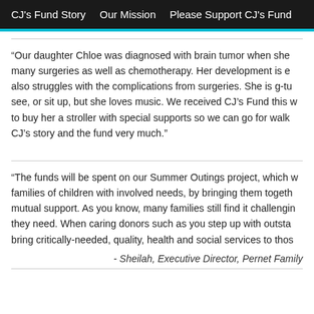CJ's Fund Story   Our Mission   Please Support CJ's Fund
“Our daughter Chloe was diagnosed with brain tumor when she many surgeries as well as chemotherapy. Her development is e also struggles with the complications from surgeries. She is g-tu see, or sit up, but she loves music. We received CJ’s Fund this w to buy her a stroller with special supports so we can go for walk CJ’s story and the fund very much.”
“The funds will be spent on our Summer Outings project, which w families of children with involved needs, by bringing them togeth mutual support. As you know, many families still find it challengin they need. When caring donors such as you step up with outsta bring critically-needed, quality, health and social services to thos
- Sheilah, Executive Director, Pernet Family